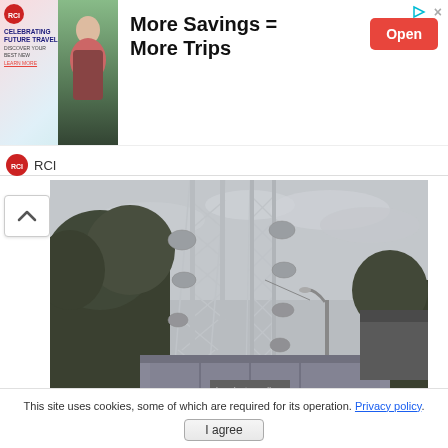[Figure (other): RCI advertisement banner with logo, image of people celebrating, and text 'More Savings = More Trips' with an Open button]
[Figure (photo): Black and white photograph of telecommunications towers with satellite dishes, surrounded by trees, with a building compound below and a street lamp. Watermark reads www.malaysia-traveller.com]
This site uses cookies, some of which are required for its operation. Privacy policy.
I agree